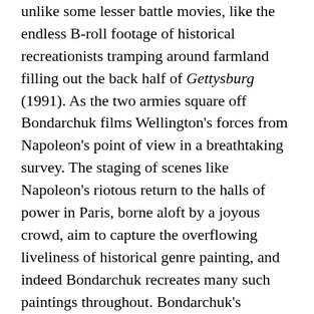unlike some lesser battle movies, like the endless B-roll footage of historical recreationists tramping around farmland filling out the back half of Gettysburg (1991). As the two armies square off Bondarchuk films Wellington's forces from Napoleon's point of view in a breathtaking survey. The staging of scenes like Napoleon's riotous return to the halls of power in Paris, borne aloft by a joyous crowd, aim to capture the overflowing liveliness of historical genre painting, and indeed Bondarchuk recreates many such paintings throughout. Bondarchuk's melancholy romanticism in the ball room is later mirrored in the most astoundingly epic fashion as he shoots the famous charge of the